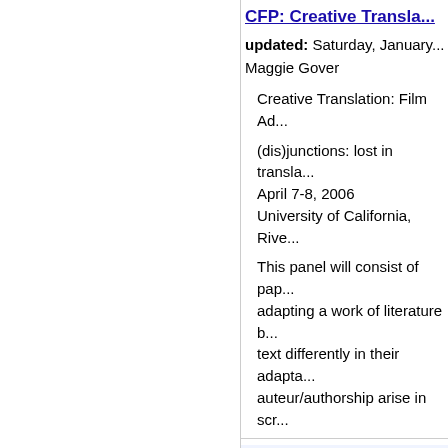CFP: Creative Transla...
updated: Saturday, January...
Maggie Gover
Creative Translation: Film Ad...
(dis)junctions: lost in transla...
April 7-8, 2006
University of California, Rive...
This panel will consist of pap... adapting a work of literature b... text differently in their adapta... auteur/authorship arise in scr...
CFP: Creative Transla...
updated: Saturday, January...